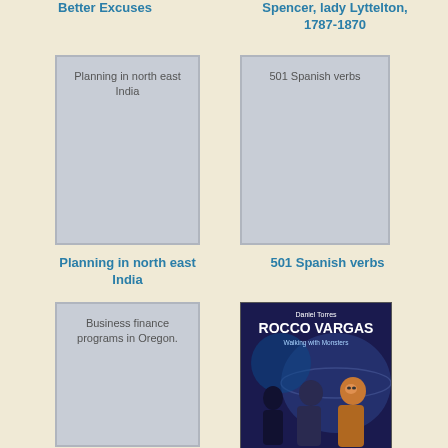Better Excuses
Spencer, lady Lyttelton, 1787-1870
[Figure (illustration): Placeholder book cover for Planning in north east India]
[Figure (illustration): Placeholder book cover for 501 Spanish verbs]
Planning in north east India
501 Spanish verbs
[Figure (illustration): Placeholder book cover for Business finance programs in Oregon.]
[Figure (illustration): Book cover: Daniel Torres ROCCO VARGAS Walking with Monsters — dark sci-fi comic book cover with figures]